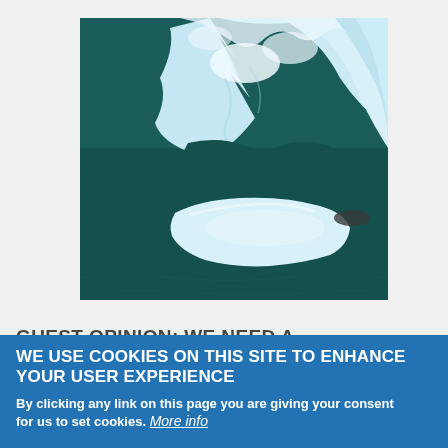[Figure (photo): Photograph of icebergs and ice chunks floating in dark water. Large blue-white ice formation in upper portion, smaller flat ice chunk in lower center, dark teal water visible.]
GUEST OPINION: WE NEED A
WE USE COOKIES ON THIS SITE TO ENHANCE YOUR USER EXPERIENCE
By clicking any link on this page you are giving your consent for us to set cookies. More info